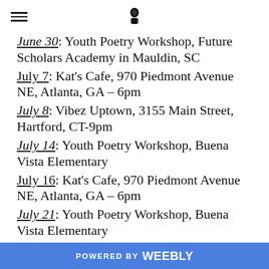Navigation menu and logo
June 30: Youth Poetry Workshop, Future Scholars Academy in Mauldin, SC
July 7: Kat's Cafe, 970 Piedmont Avenue NE, Atlanta, GA – 6pm
July 8: Vibez Uptown, 3155 Main Street, Hartford, CT-9pm
July 14: Youth Poetry Workshop, Buena Vista Elementary
July 16: Kat's Cafe, 970 Piedmont Avenue NE, Atlanta, GA – 6pm
July 21: Youth Poetry Workshop, Buena Vista Elementary
POWERED BY weebly